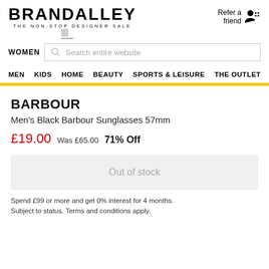BRANDALLEY THE NON-STOP DESIGNER SALE
Refer a friend
WOMEN Search entire website
MEN KIDS HOME BEAUTY SPORTS & LEISURE THE OUTLET
BARBOUR
Men's Black Barbour Sunglasses 57mm
£19.00 Was £65.00 71% Off
Out of stock
Spend £99 or more and get 0% interest for 4 months. Subject to status. Terms and conditions apply.